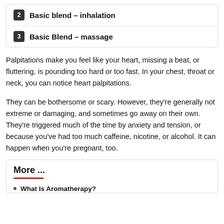2 Basic blend – inhalation
3 Basic Blend – massage
Palpitations make you feel like your heart, missing a beat, or fluttering, is pounding too hard or too fast. In your chest, throat or neck, you can notice heart palpitations.
They can be bothersome or scary. However, they're generally not extreme or damaging, and sometimes go away on their own. They're triggered much of the time by anxiety and tension, or because you've had too much caffeine, nicotine, or alcohol. It can happen when you're pregnant, too.
More ...
What Is Aromatherapy?